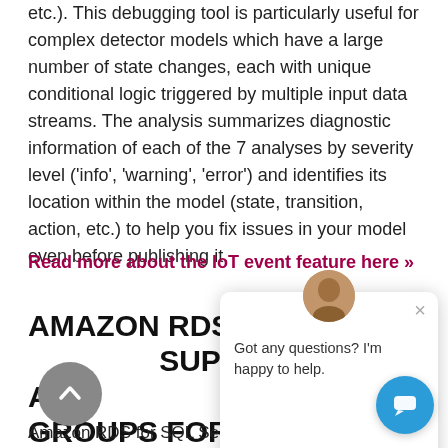etc.). This debugging tool is particularly useful for complex detector models which have a large number of state changes, each with unique conditional logic triggered by multiple input data streams. The analysis summarizes diagnostic information of each of the 7 analyses by severity level ('info', 'warning', 'error') and identifies its location within the model (state, transition, action, etc.) to help you fix issues in your model even before publishing it.
Read more about the IoT event feature here »
AMAZON RDS FOR SQL SERVER SUPPORTS ALWAYS ON AVAILABILITY GROUPS FOR STANDARD EDITION
Amazon RDS for SQL Server now offers Always On Availability Groups (AGs) for the Multi-AZ configuration in all AWS Business or Standard Edition. This enables...
[Figure (other): Chat widget popup overlay with avatar photo, close button (×), and message 'Got any questions? I'm happy to help.' alongside a blue chat bubble button and a gray scroll-to-top button.]